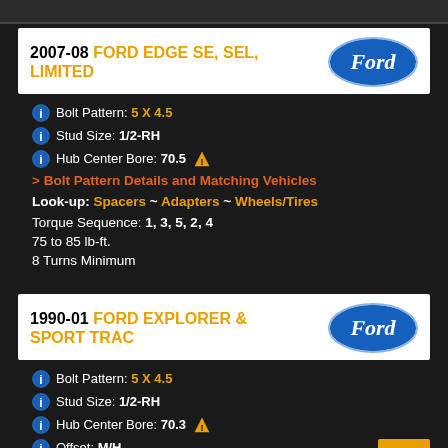2007-08 FORD EDGE SE, SEL, LIMITED
Bolt Pattern: 5 X 4.5
Stud Size: 1/2-RH
Hub Center Bore: 70.5 ⚠
> Bolt Pattern Details and Matching Vehicles
Look-up: Spacers ~ Adapters ~ Wheels/Tires
Torque Sequence: 1, 3, 5, 2, 4
75 to 85 lb-ft.
8 Turns Minimum
1990-01 FORD EXPLORER & SPORT TRAC
Bolt Pattern: 5 X 4.5
Stud Size: 1/2-RH
Hub Center Bore: 70.3 ⚠
Offset: M/H
> Bolt Pattern Details and Matching Vehicles